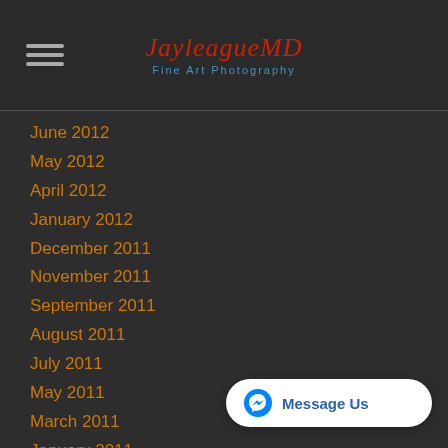[Figure (logo): JayleagueMD Fine Art Photography logo with script text and subtitle]
June 2012
May 2012
April 2012
January 2012
December 2011
November 2011
September 2011
August 2011
July 2011
May 2011
March 2011
January 2011
December 2010
November 2010
October 2010
Categories